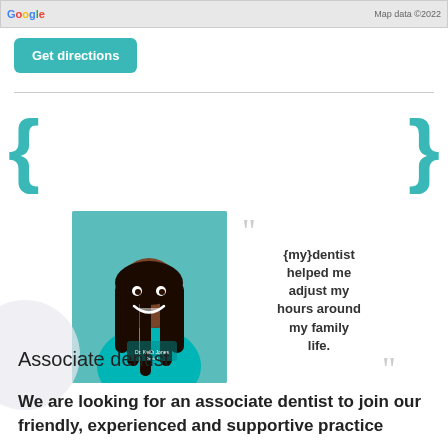[Figure (screenshot): Google Maps strip showing partial map with 'Map data ©2022' attribution]
Get directions
[Figure (photo): Testimonial banner with teal curly braces on either side. A smiling female dentist wearing a teal uniform is shown on the left. On the right, a quote reads: "{my}dentist helped me adjust my hours around my family life." with decorative quotation marks.]
Associate dentist
We are looking for an associate dentist to join our friendly, experienced and supportive practice